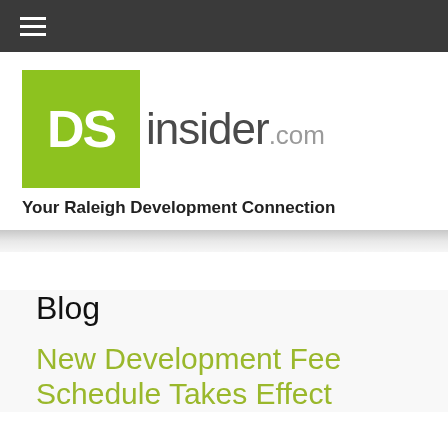≡ (navigation menu)
[Figure (logo): DSinsider.com logo — green square with white 'DS' text, followed by 'insider' in dark gray and '.com' in light gray]
Your Raleigh Development Connection
Blog
New Development Fee Schedule Takes Effect